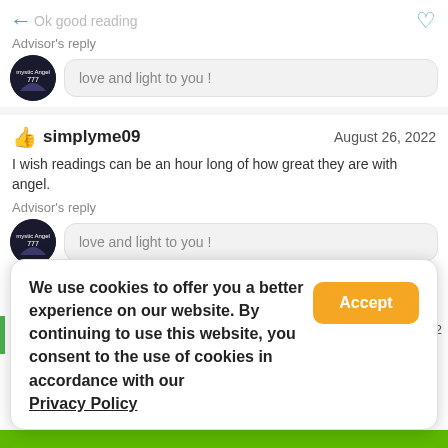Ok good reading
Advisor's reply
love and light to you !
simplyme09   August 26, 2022
I wish readings can be an hour long of how great they are with angel.
Advisor's reply
love and light to you !
We use cookies to offer you a better experience on our website. By continuing to use this website, you consent to the use of cookies in accordance with our Privacy Policy